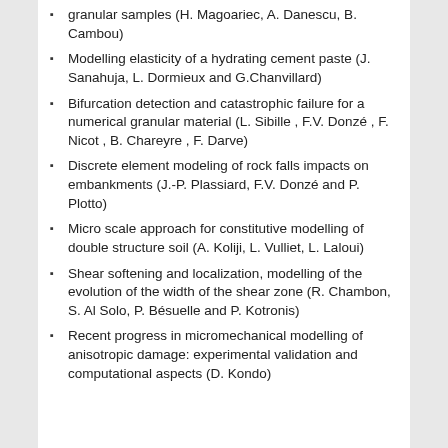granular samples (H. Magoariec, A. Danescu, B. Cambou)
Modelling elasticity of a hydrating cement paste (J. Sanahuja, L. Dormieux and G.Chanvillard)
Bifurcation detection and catastrophic failure for a numerical granular material (L. Sibille , F.V. Donzé , F. Nicot , B. Chareyre , F. Darve)
Discrete element modeling of rock falls impacts on embankments (J.-P. Plassiard, F.V. Donzé and P. Plotto)
Micro scale approach for constitutive modelling of double structure soil (A. Koliji, L. Vulliet, L. Laloui)
Shear softening and localization, modelling of the evolution of the width of the shear zone (R. Chambon, S. Al Solo, P. Bésuelle and P. Kotronis)
Recent progress in micromechanical modelling of anisotropic damage: experimental validation and computational aspects (D. Kondo)